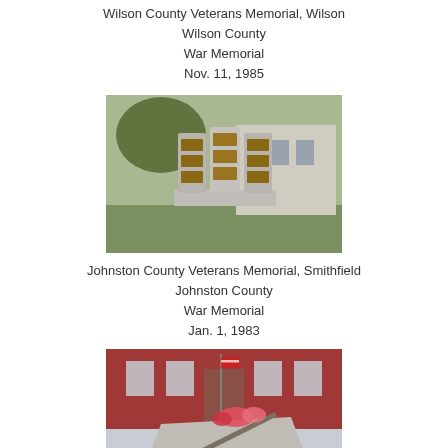Wilson County Veterans Memorial, Wilson
Wilson County
War Memorial
Nov. 11, 1985
[Figure (photo): Photo of Johnston County Veterans Memorial in Smithfield, NC — a granite monument with multiple panels, set on a concrete base with greenery and a building in the background]
Johnston County Veterans Memorial, Smithfield
Johnston County
War Memorial
Jan. 1, 1983
[Figure (photo): Photo of Washington County Veterans Memorial in Plymouth, NC — a stone/granite memorial sculpture with flowers on top, set on a brick plaza in front of a brick building]
Washington County Veterans Memorial, Plymouth
Washington County
War Memorial
Nov. 11, 1987